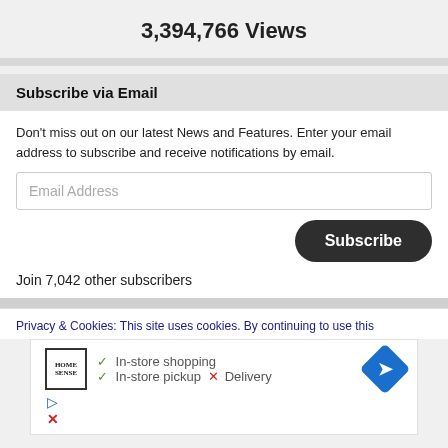3,394,766 Views
Subscribe via Email
Don't miss out on our latest News and Features. Enter your email address to subscribe and receive notifications by email.
Email Address
Subscribe
Join 7,042 other subscribers
Privacy & Cookies: This site uses cookies. By continuing to use this
[Figure (other): Advertisement for Home Sense showing in-store shopping checkmark, in-store pickup checkmark, Delivery with X, and a blue diamond direction arrow icon.]